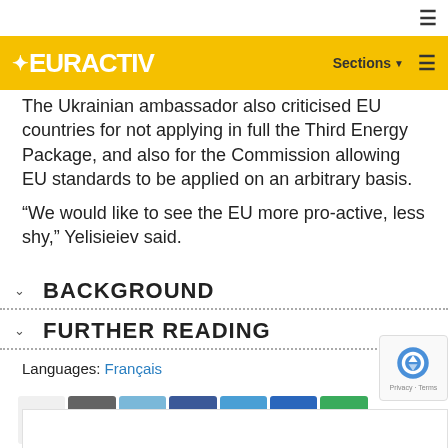EURACTIV — Sections ≡
The Ukrainian ambassador also criticised EU countries for not applying in full the Third Energy Package, and also for the Commission allowing EU standards to be applied on an arbitrary basis.
“We would like to see the EU more pro-active, less shy,” Yelisieiev said.
BACKGROUND
FURTHER READING
Languages: Français